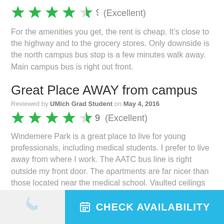[Figure (other): Star rating: 4.5 stars (green), score 9 (Excellent)]
For the amenities you get, the rent is cheap. It's close to the highway and to the grocery stores. Only downside is the north campus bus stop is a few minutes walk away. Main campus bus is right out front.
Great Place AWAY from campus
Reviewed by UMich Grad Student on May 4, 2016
[Figure (other): Star rating: 4.5 stars (green), score 9 (Excellent)]
Windemere Park is a great place to live for young professionals, including medical students. I prefer to live away from where I work. The AATC bus line is right outside my front door. The apartments are far nicer than those located near the medical school. Vaulted ceilings and fireplaces are ...
CHECK AVAILABILITY